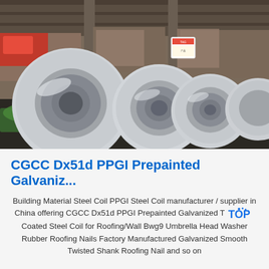[Figure (photo): Industrial warehouse interior showing multiple large white steel coils lying on wooden pallets on a dark floor, with green packaging material underneath. Red trucks and stacked goods visible in background.]
CGCC Dx51d PPGI Prepainted Galvaniz...
Building Material Steel Coil PPGI Steel Coil manufacturer / supplier in China offering CGCC Dx51d PPGI Prepainted Galvanized Top Coated Steel Coil for Roofing/Wall Bwg9 Umbrella Head Washer Rubber Roofing Nails Factory Manufactured Galvanized Smooth Twisted Shank Roofing Nail and so on